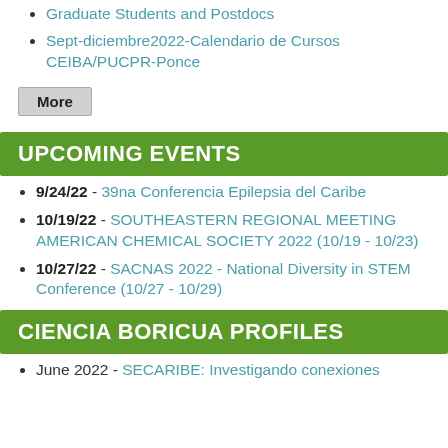Graduate Students and Postdocs
Sept-diciembre2022-Calendario de Cursos CEIBA/PUCPR-Ponce
More
UPCOMING EVENTS
9/24/22 - 39na Conferencia Epilepsia del Caribe
10/19/22 - SOUTHEASTERN REGIONAL MEETING AMERICAN CHEMICAL SOCIETY 2022 (10/19 - 10/23)
10/27/22 - SACNAS 2022 - National Diversity in STEM Conference (10/27 - 10/29)
CIENCIA BORICUA PROFILES
June 2022 - SECARIBE: Investigando conexiones